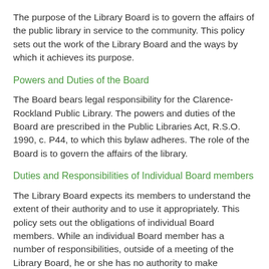The purpose of the Library Board is to govern the affairs of the public library in service to the community. This policy sets out the work of the Library Board and the ways by which it achieves its purpose.
Powers and Duties of the Board
The Board bears legal responsibility for the Clarence-Rockland Public Library. The powers and duties of the Board are prescribed in the Public Libraries Act, R.S.O. 1990, c. P44, to which this bylaw adheres. The role of the Board is to govern the affairs of the library.
Duties and Responsibilities of Individual Board members
The Library Board expects its members to understand the extent of their authority and to use it appropriately. This policy sets out the obligations of individual Board members. While an individual Board member has a number of responsibilities, outside of a meeting of the Library Board, he or she has no authority to make decisions.